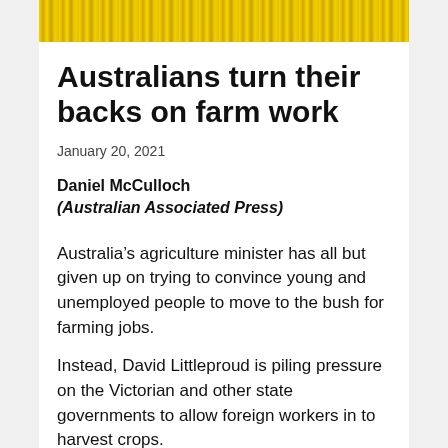[Figure (photo): Yellow flowering crop field (canola/rapeseed) viewed from above, cropped strip at top of page]
Australians turn their backs on farm work
January 20, 2021
Daniel McCulloch
(Australian Associated Press)
Australia’s agriculture minister has all but given up on trying to convince young and unemployed people to move to the bush for farming jobs.
Instead, David Littleproud is piling pressure on the Victorian and other state governments to allow foreign workers in to harvest crops.
The federal government has an incentive program